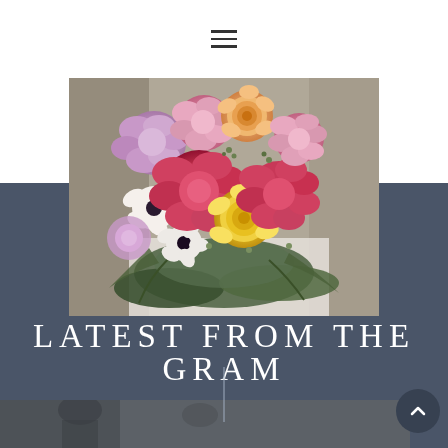☰ (hamburger menu icon)
[Figure (photo): Close-up photograph of a colorful bridal bouquet featuring pink peonies, yellow and peach ranunculus, lavender roses, white anemones, and trailing greenery/eucalyptus, held by a bride in a white dress against a gray background.]
LATEST FROM THE GRAM
[Figure (photo): Partially visible photograph at the bottom of the page showing a dark/muted scene, partially cut off.]